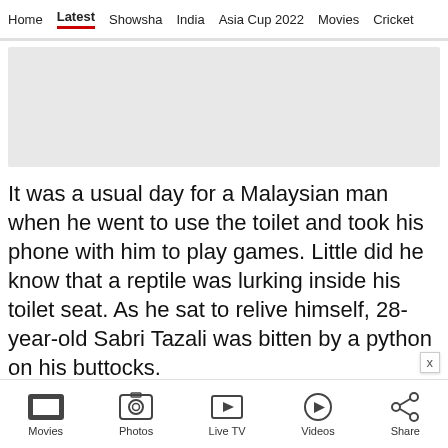Home | Latest | Showsha | India | Asia Cup 2022 | Movies | Cricket
[Figure (other): Advertisement placeholder banner (gray rectangle)]
It was a usual day for a Malaysian man when he went to use the toilet and took his phone with him to play games. Little did he know that a reptile was lurking inside his toilet seat. As he sat to relive himself, 28-year-old Sabri Tazali was bitten by a python on his buttocks.
He shared about the incident through a Twitter
Movies | Photos | Live TV | Videos | Share